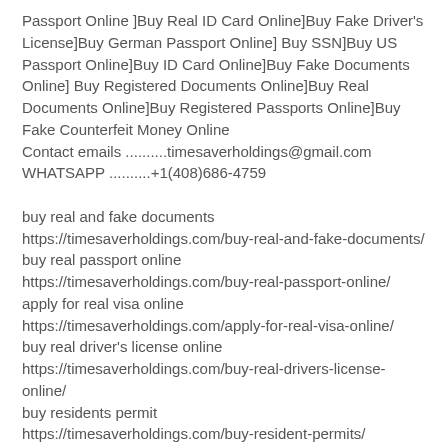Passport Online ]Buy Real ID Card Online]Buy Fake Driver's License]Buy German Passport Online] Buy SSN]Buy US Passport Online]Buy ID Card Online]Buy Fake Documents Online] Buy Registered Documents Online]Buy Real Documents Online]Buy Registered Passports Online]Buy Fake Counterfeit Money Online
Contact emails ..........timesaverholdings@gmail.com
WHATSAPP ..........+1(408)686-4759
buy real and fake documents
https://timesaverholdings.com/buy-real-and-fake-documents/
buy real passport online
https://timesaverholdings.com/buy-real-passport-online/
apply for real visa online
https://timesaverholdings.com/apply-for-real-visa-online/
buy real driver's license online
https://timesaverholdings.com/buy-real-drivers-license-online/
buy residents permit
https://timesaverholdings.com/buy-resident-permits/
buy verified ielts online